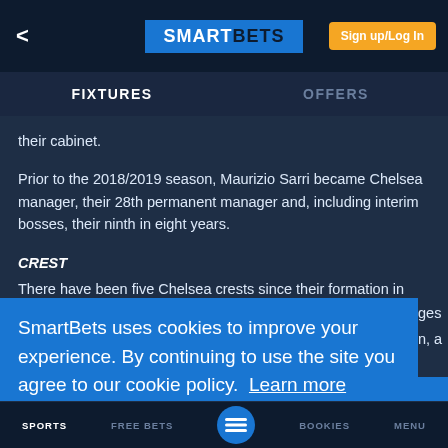< SMARTBETS Sign up/Log In
FIXTURES | OFFERS
their cabinet.
Prior to the 2018/2019 season, Maurizio Sarri became Chelsea manager, their 28th permanent manager and, including interim bosses, their ninth in eight years.
CREST
There have been five Chelsea crests since their formation in 1905, four of which have been used on shirts. The Chelsea badges through the years have changed, but most of included the image of
SmartBets uses cookies to improve your experience. By continuing to use the site you agree to our cookie policy.  Learn more
Got it
SPORTS   FREE BETS   [logo]   BOOKIES   MENU